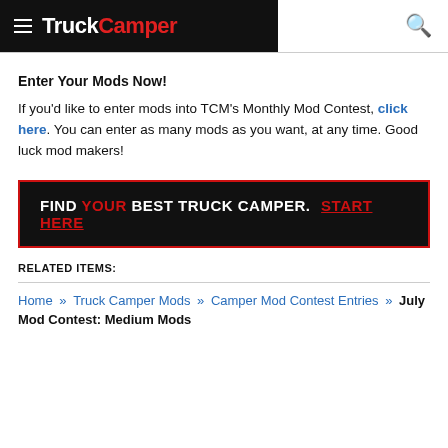TruckCamper
Enter Your Mods Now!
If you'd like to enter mods into TCM's Monthly Mod Contest, click here. You can enter as many mods as you want, at any time. Good luck mod makers!
[Figure (infographic): Black banner with red border reading: FIND YOUR BEST TRUCK CAMPER. START HERE]
RELATED ITEMS:
Home » Truck Camper Mods » Camper Mod Contest Entries » July Mod Contest: Medium Mods